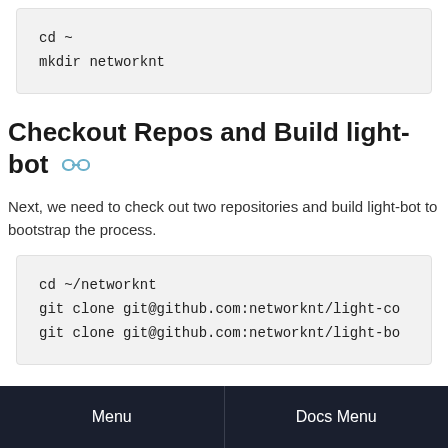cd ~
mkdir networknt
Checkout Repos and Build light-bot
Next, we need to check out two repositories and build light-bot to bootstrap the process.
cd ~/networknt
git clone git@github.com:networknt/light-co
git clone git@github.com:networknt/light-bo
Menu  Docs Menu